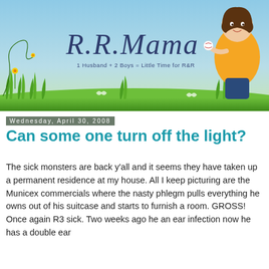[Figure (illustration): RR.Mama blog header banner with sky blue background, green grass, flowers, and a cartoon woman in a yellow top holding a baseball. Large stylized text reads 'R.R.Mama' with tagline '1 Husband + 2 Boys = Little Time for R&R'.]
Wednesday, April 30, 2008
Can some one turn off the light?
The sick monsters are back y'all and it seems they have taken up a permanent residence at my house. All I keep picturing are the Municex commercials where the nasty phlegm pulls everything he owns out of his suitcase and starts to furnish a room. GROSS! Once again R3 sick. Two weeks ago he an ear infection now he has a double ear